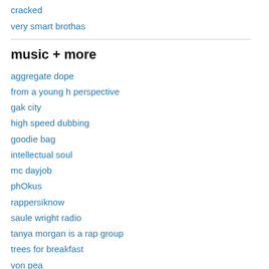cracked
very smart brothas
music + more
aggregate dope
from a young h perspective
gak city
high speed dubbing
goodie bag
intellectual soul
mc dayjob
phOkus
rappersiknow
saule wright radio
tanya morgan is a rap group
trees for breakfast
von pea